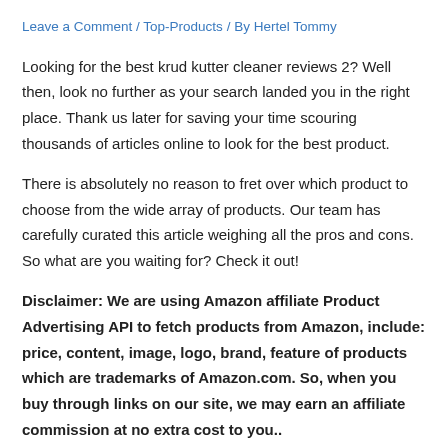Leave a Comment / Top-Products / By Hertel Tommy
Looking for the best krud kutter cleaner reviews 2? Well then, look no further as your search landed you in the right place. Thank us later for saving your time scouring thousands of articles online to look for the best product.
There is absolutely no reason to fret over which product to choose from the wide array of products. Our team has carefully curated this article weighing all the pros and cons. So what are you waiting for? Check it out!
Disclaimer: We are using Amazon affiliate Product Advertising API to fetch products from Amazon, include: price, content, image, logo, brand, feature of products which are trademarks of Amazon.com. So, when you buy through links on our site, we may earn an affiliate commission at no extra cost to you..
Read more.